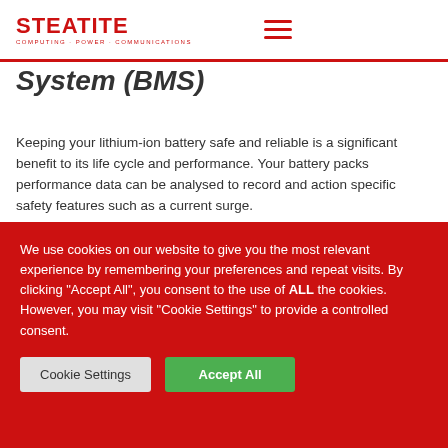STEATITE — COMPUTING · POWER · COMMUNICATIONS
System (BMS)
Keeping your lithium-ion battery safe and reliable is a significant benefit to its life cycle and performance. Your battery packs performance data can be analysed to record and action specific safety features such as a current surge.
Our BMS can also be configured to communicate data and indicate performance measurements through dedicated
We use cookies on our website to give you the most relevant experience by remembering your preferences and repeat visits. By clicking "Accept All", you consent to the use of ALL the cookies. However, you may visit "Cookie Settings" to provide a controlled consent.